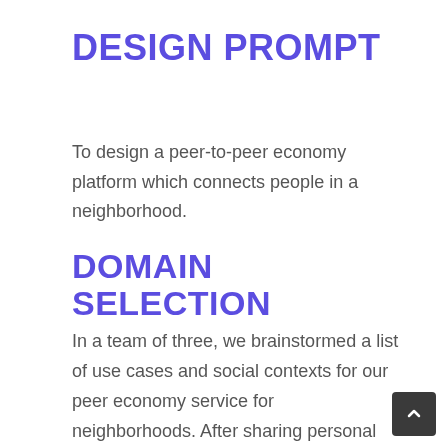DESIGN PROMPT
To design a peer-to-peer economy platform which connects people in a neighborhood.
DOMAIN SELECTION
In a team of three, we brainstormed a list of use cases and social contexts for our peer economy service for neighborhoods. After sharing personal experiences which helped us connect with other people in our own neighborhoods, we decided to explore the domain of neighborhood-based...